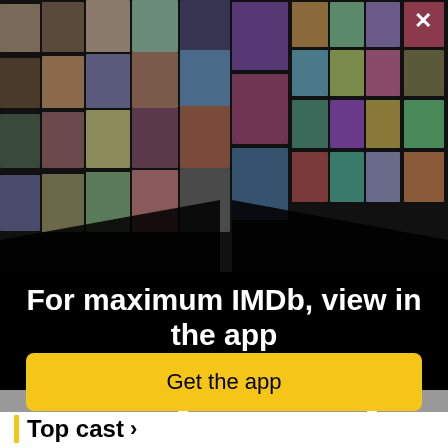[Figure (photo): IMDb app promotional overlay showing a mosaic of celebrity headshots and movie poster thumbnails arranged in a perspective grid on a black background]
×
For maximum IMDb, view in the app
Get the app
Top cast ›